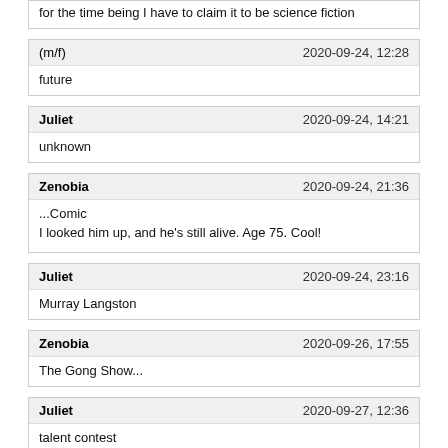for the time being I have to claim it to be science fiction
(m/f) · 2020-09-24, 12:28 · future
Juliet · 2020-09-24, 14:21 · unknown
Zenobia · 2020-09-24, 21:36 · ...Comic
I looked him up, and he's still alive. Age 75. Cool!
Juliet · 2020-09-24, 23:16 · Murray Langston
Zenobia · 2020-09-26, 17:55 · The Gong Show...
Juliet · 2020-09-27, 12:36 · talent contest
Zenobia · 2020-09-27, 23:31 · trophy